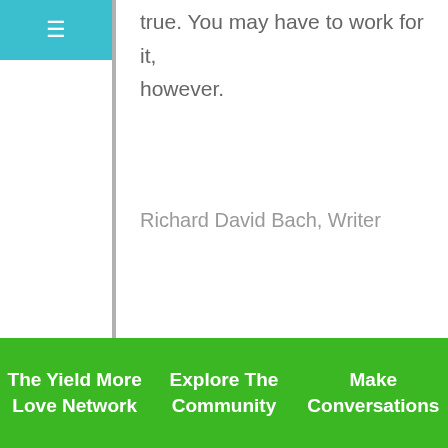true. You may have to work for it, however.
Richard David Bach, Writer
I call that work BUILDING, for "thou art the author of thy destiny". This means we do have control over our lives as believed here.
We are after all in "Search for God", or as Swami Sivananda puts it - "Nature constantly
The Yield More Love Network   Explore The Community   Make Conversations